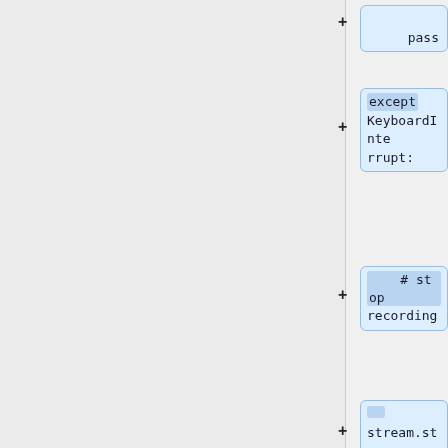[Figure (screenshot): Flowchart/code diff view showing Python code blocks with + markers on the right side. Code blocks shown: 'pass', 'except KeyboardInterrupt:', '# stop recording', 'stream.stop_stream()', 'stream.close()', 'audio.terminate()', 'audio_source']
pass
except KeyboardInterrupt:
# stop recording
stream.stop_stream()
stream.close()
audio.terminate()
audio_source